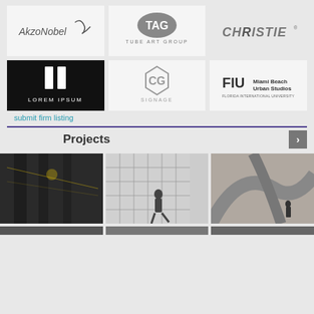[Figure (logo): AkzoNobel logo with stylized bird/stroke graphic]
[Figure (logo): TAG Tube Art Group logo - oval with TAG text]
[Figure (logo): CHRISTIE logo in bold gray letters]
[Figure (logo): Lorem Ipsum logo - dark background with 'li' icon and LOREM IPSUM text]
[Figure (logo): CG Signage logo - hexagon with CG letters]
[Figure (logo): FIU Miami Beach Urban Studios - Florida International University logo]
submit firm listing
Projects
[Figure (photo): Black and white interior photo of a corridor/hallway with lights]
[Figure (photo): Black and white photo of a person walking in front of a glass grid wall]
[Figure (photo): Black and white photo of architectural curved forms with a figure]